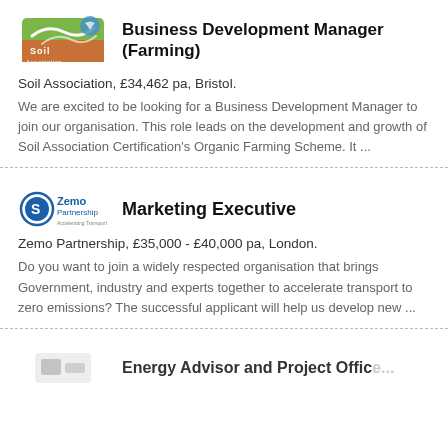[Figure (logo): Soil Association logo - green and brown with a bird/wave motif]
Business Development Manager (Farming)
Soil Association, £34,462 pa, Bristol.
We are excited to be looking for a Business Development Manager to join our organisation. This role leads on the development and growth of Soil Association Certification's Organic Farming Scheme. It ...
[Figure (logo): Zemo Partnership logo - circular blue icon with letter S and company name]
Marketing Executive
Zemo Partnership, £35,000 - £40,000 pa, London.
Do you want to join a widely respected organisation that brings Government, industry and experts together to accelerate transport to zero emissions? The successful applicant will help us develop new ...
[Figure (logo): Partial logo visible at bottom of page]
Energy Advisor and Project Officer